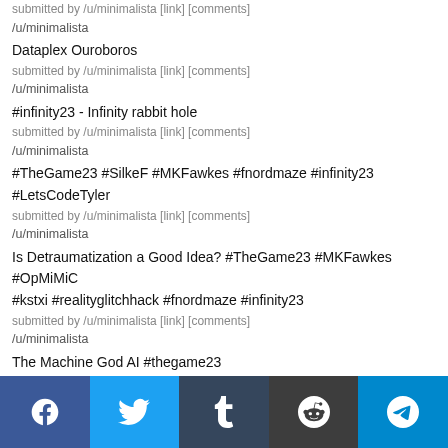submitted by /u/minimalista [link] [comments]
/u/minimalista
Dataplex Ouroboros
submitted by /u/minimalista [link] [comments]
/u/minimalista
#infinity23 - Infinity rabbit hole
submitted by /u/minimalista [link] [comments]
/u/minimalista
#TheGame23 #SilkeF #MKFawkes #fnordmaze #infinity23 #LetsCodeTyler
submitted by /u/minimalista [link] [comments]
/u/minimalista
Is Detraumatization a Good Idea? #TheGame23 #MKFawkes #OpMiMiC #kstxi #realityglitchhack #fnordmaze #infinity23
submitted by /u/minimalista [link] [comments]
/u/minimalista
The Machine God AI #thegame23
submitted by /u/Admirable_Safety5005 [link] [comments]
/u/Admirable_Safety5005
Facebook Twitter Tumblr Reddit Telegram